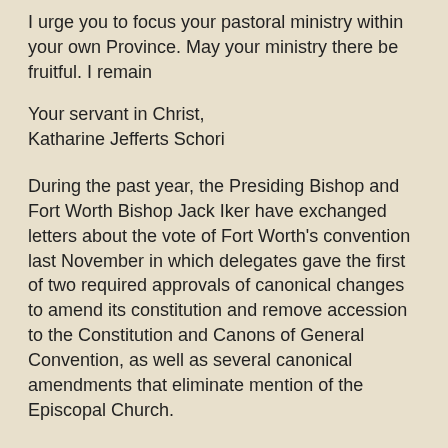I urge you to focus your pastoral ministry within your own Province. May your ministry there be fruitful. I remain
Your servant in Christ,
Katharine Jefferts Schori
During the past year, the Presiding Bishop and Fort Worth Bishop Jack Iker have exchanged letters about the vote of Fort Worth's convention last November in which delegates gave the first of two required approvals of canonical changes to amend its constitution and remove accession to the Constitution and Canons of General Convention, as well as several canonical amendments that eliminate mention of the Episcopal Church.
Jefferts Schori has continued to emphasize the possibility of reconciliation between Iker, the diocese and the wider Episcopal Church, said the Presiding Bishop's canon, the Rev. Dr. Charles K. Robertson.
Meanwhile, a group called the Steering Committee North